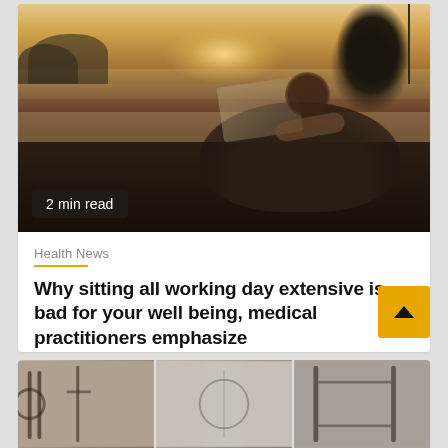[Figure (photo): Woman sitting on a bean bag outdoors on a beach at sunset, working on a laptop with trees in the background and warm golden light. A green bottle is visible beside her.]
2 min read
Health News
Why sitting all working day extensive is bad for your well being, medical practitioners emphasize
2 days ago   Sechan
[Figure (photo): Partial view of a gym or fitness equipment area, shown at the bottom of the page.]